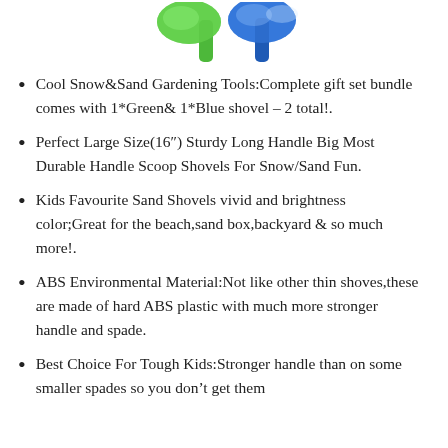[Figure (photo): Top portion of green and blue plastic shovels/spades shown from above against white background]
Cool Snow&Sand Gardening Tools:Complete gift set bundle comes with 1*Green& 1*Blue shovel – 2 total!.
Perfect Large Size(16") Sturdy Long Handle Big Most Durable Handle Scoop Shovels For Snow/Sand Fun.
Kids Favourite Sand Shovels vivid and brightness color;Great for the beach,sand box,backyard & so much more!.
ABS Environmental Material:Not like other thin shoves,these are made of hard ABS plastic with much more stronger handle and spade.
Best Choice For Tough Kids:Stronger handle than on some smaller spades so you don't get them